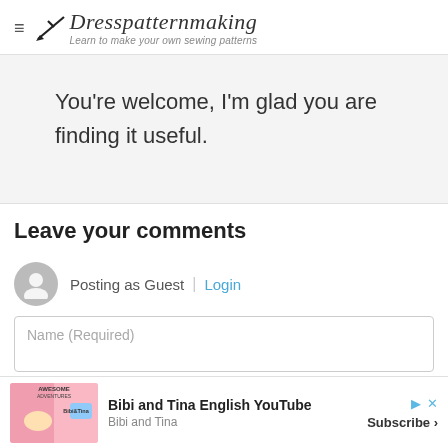Dresspatternmaking — Learn to make your own sewing patterns
You're welcome, I'm glad you are finding it useful.
Leave your comments
Posting as Guest | Login
Name (Required)
[Figure (screenshot): Advertisement banner for Bibi and Tina English YouTube channel with Subscribe button]